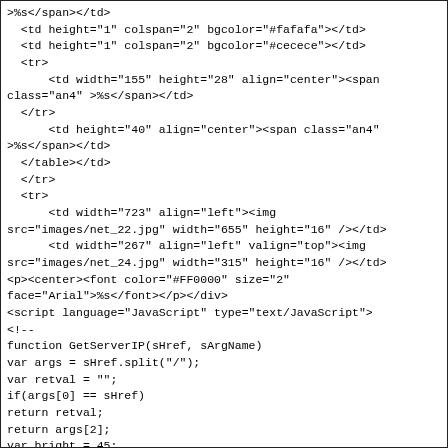>%s</span></td>
  <td height="1" colspan="2" bgcolor="#fafafa"></td>
  <td height="1" colspan="2" bgcolor="#cecece"></td>
  <tr>
      <td width="155" height="28" align="center"><span
class="an4" >%s</span></td>
  </tr>
      <td height="40" align="center"><span class="an4"
>%s</span></td>
  </table></td>
  </tr>
  <tr>
      <td width="723" align="left"><img
src="images/net_22.jpg" width="655" height="16" /></td>
      <td width="267" align="left" valign="top"><img
src="images/net_24.jpg" width="315" height="16" /></td>
<p><center><font color="#FF0000" size="2"
face="Arial">%s</font></p></div>
<script language="JavaScript" type="text/JavaScript">
<!--
function GetServerIP(sHref, sArgName)
var args = sHref.split("/");
var retval = "";
if(args[0] == sHref)
return retval;
return args[2];
var bright = 45;
var contrast = 45;
var saturation = 45;
var autoscan = 0;
var CTWidth = 160;
var CTHeight = 120;
var CTScaleRate = 2;
var ConnectStatus = 0;
var volume = 0;
var InterSpeak = 0;
RecorderState = 1;
AudioSwitch = 0;
var UserName="";
var Password="";
var auto_scan = 0;